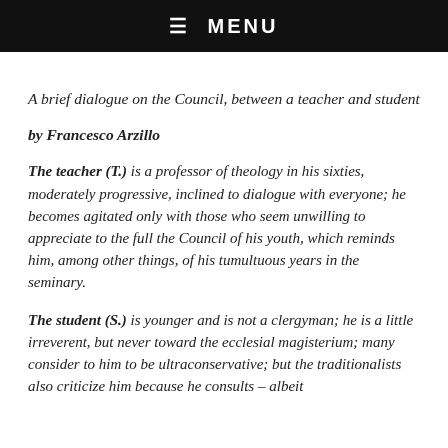☰ MENU
A brief dialogue on the Council, between a teacher and student
by Francesco Arzillo
The teacher (T.) is a professor of theology in his sixties, moderately progressive, inclined to dialogue with everyone; he becomes agitated only with those who seem unwilling to appreciate to the full the Council of his youth, which reminds him, among other things, of his tumultuous years in the seminary.
The student (S.) is younger and is not a clergyman; he is a little irreverent, but never toward the ecclesial magisterium; many consider to him to be ultraconservative; but the traditionalists also criticize him because he consults – albeit